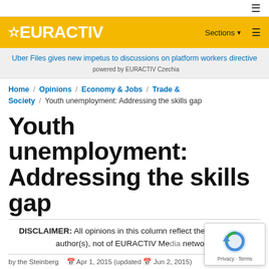≡
[Figure (logo): EURACTIV logo in white text on yellow background, with Sections navigation]
Uber Files gives new impetus to discussions on platform workers directive powered by EURACTIV Czechia
Home / Opinions / Economy & Jobs / Trade & Society / Youth unemployment: Addressing the skills gap
Youth unemployment: Addressing the skills gap
DISCLAIMER: All opinions in this column reflect the views of the author(s), not of EURACTIV Media network.
by the Steinberg, ...